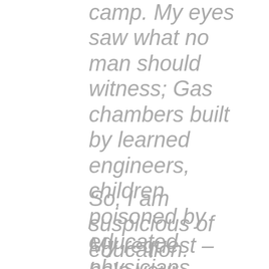camp. My eyes saw what no man should witness; Gas chambers built by learned engineers, children poisoned by educated physicians, infants killed by trained nurses, women and babies shot and burned by high school and college graduates.
So, I am suspicious of education.
My request – help your students become human. Your efforts must